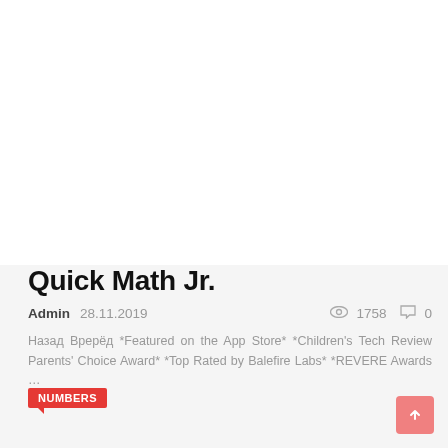Quick Math Jr.
Admin  28.11.2019   1758  0
Назад Врерёд *Featured on the App Store* *Children's Tech Review Parents' Choice Award* *Top Rated by Balefire Labs* *REVERE Awards …
NUMBERS